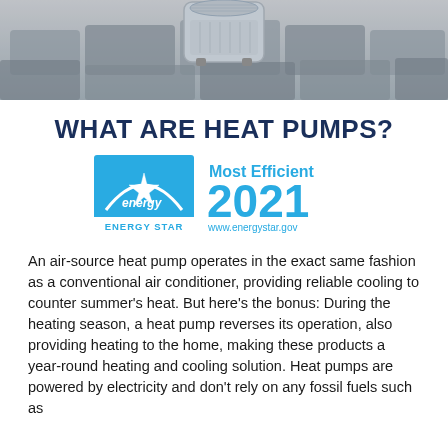[Figure (photo): Outdoor air-source heat pump unit sitting on a stone patio with mulch surrounding it, photographed from above at an angle.]
WHAT ARE HEAT PUMPS?
[Figure (logo): ENERGY STAR Most Efficient 2021 logo. Blue square with ENERGY STAR logo on left, and text 'Most Efficient 2021 www.energystar.gov' on right in blue.]
An air-source heat pump operates in the exact same fashion as a conventional air conditioner, providing reliable cooling to counter summer's heat. But here's the bonus: During the heating season, a heat pump reverses its operation, also providing heating to the home, making these products a year-round heating and cooling solution. Heat pumps are powered by electricity and don't rely on any fossil fuels such as